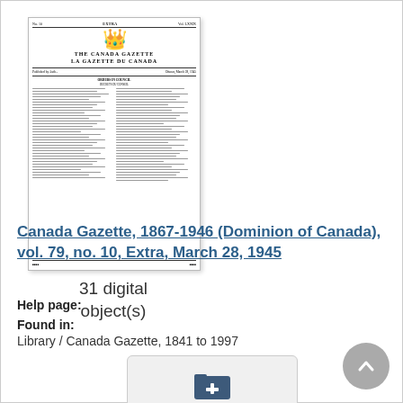[Figure (photo): Thumbnail image of Canada Gazette newspaper front page, showing masthead with coat of arms, title THE CANADA GAZETTE / LA GAZETTE DU CANADA, columns of text]
31 digital object(s)
Canada Gazette, 1867-1946 (Dominion of Canada), vol. 79, no. 10, Extra, March 28, 1945
Help page:
Found in:
Library / Canada Gazette, 1841 to 1997
[Figure (other): Add to My Research button with folder-plus icon on light grey background]
[Figure (other): Scroll to top circular grey button with upward chevron arrow]